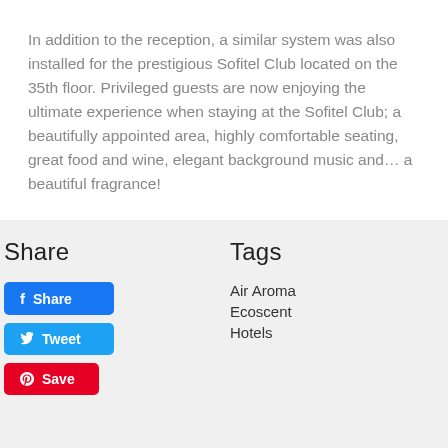In addition to the reception, a similar system was also installed for the prestigious Sofitel Club located on the 35th floor. Privileged guests are now enjoying the ultimate experience when staying at the Sofitel Club; a beautifully appointed area, highly comfortable seating, great food and wine, elegant background music and… a beautiful fragrance!
Share
Tags
Air Aroma
Ecoscent
Hotels